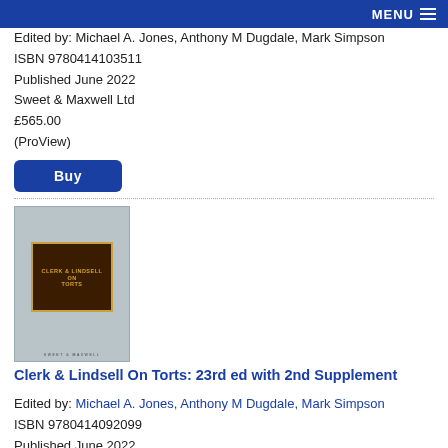MENU
Edited by: Michael A. Jones, Anthony M Dugdale, Mark Simpson
ISBN 9780414103511
Published June 2022
Sweet & Maxwell Ltd
£565.00
(ProView)
Buy
[Figure (illustration): Book cover of Clerk & Lindsell On Torts with gray background and dark brown/gold title panel]
Clerk & Lindsell On Torts: 23rd ed with 2nd Supplement
Edited by: Michael A. Jones, Anthony M Dugdale, Mark Simpson
ISBN 9780414092099
Published June 2022